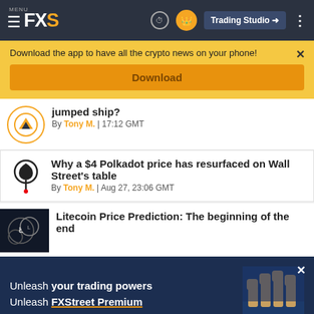MENU FXS | Trading Studio →
Download the app to have all the crypto news on your phone!
Download
jumped ship?
By Tony M. | 17:12 GMT
Why a $4 Polkadot price has resurfaced on Wall Street's table
By Tony M. | Aug 27, 23:06 GMT
Litecoin Price Prediction: The beginning of the end
Unleash your trading powers Unleash FXStreet Premium
©2022 "FXStreet" All Rights Reserved   Disclaimer ▲